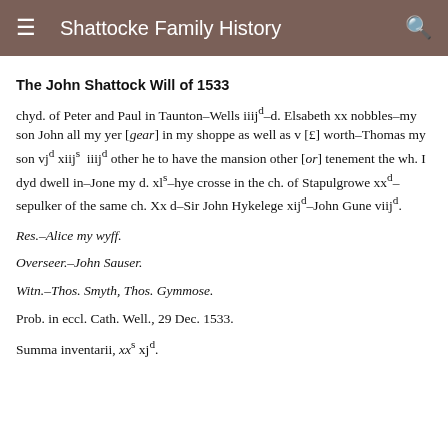≡  Shattocke Family History  🔍
The John Shattock Will of 1533
chyd. of Peter and Paul in Taunton–Wells iiij^d–d. Elsabeth xx nobbles–my son John all my yer [gear] in my shoppe as well as v [£] worth–Thomas my son vj^d xiij^s iiij^d other he to have the mansion other [or] tenement the wh. I dyd dwell in–Jone my d. xl^s–hye crosse in the ch. of Stapulgrowe xx^d–sepulker of the same ch. Xx d–Sir John Hykelege xij^d–John Gune viij^d.
Res.–Alice my wyff.
Overseer.–John Sauser.
Witn.–Thos. Smyth, Thos. Gymmose.
Prob. in eccl. Cath. Well., 29 Dec. 1533.
Summa inventarii, xx^s xj^d.